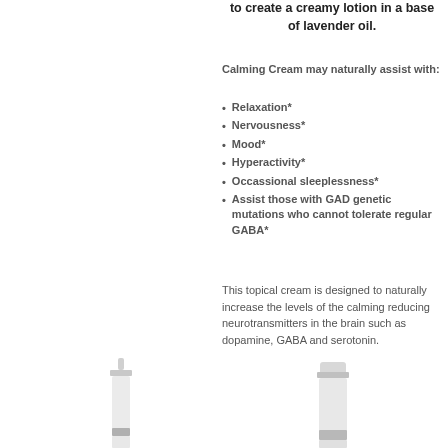to create a creamy lotion in a base of lavender oil.
Calming Cream may naturally assist with:
Relaxation*
Nervousness*
Mood*
Hyperactivity*
Occassional sleeplessness*
Assist those with GAD genetic mutations who cannot tolerate regular GABA*
This topical cream is designed to naturally increase the levels of the calming reducing neurotransmitters in the brain such as dopamine, GABA and serotonin.
[Figure (photo): Two white cream pump bottles partially visible at the bottom of the page]